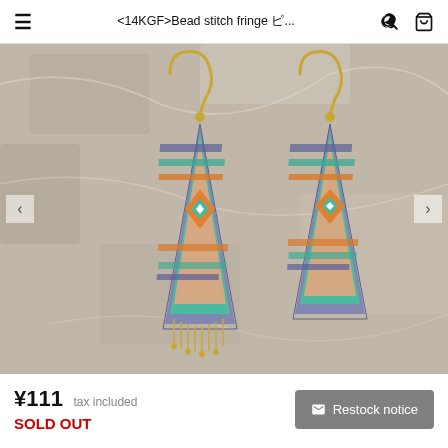< 14KGF > Bead stitch fringe ピ...
[Figure (photo): Two beaded fringe earrings with geometric Native American-style diamond pattern in navy blue, teal, orange and beige, with gold hooks, displayed on a white marble/stone background.]
¥111  tax included
SOLD OUT
✉ Restock notice